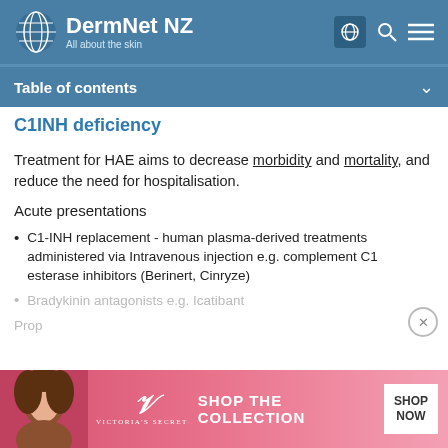DermNet NZ — All about the skin
Table of contents
C1INH deficiency
Treatment for HAE aims to decrease morbidity and mortality, and reduce the need for hospitalisation.
Acute presentations
C1-INH replacement - human plasma-derived treatments administered via Intravenous injection e.g. complement C1 esterase inhibitors (Berinert, Cinryze)
Bradykinin antagonists e.g. Icatibant
Prop...
[Figure (photo): Victoria's Secret advertisement banner with model, logo, and SHOP THE COLLECTION / SHOP NOW text]